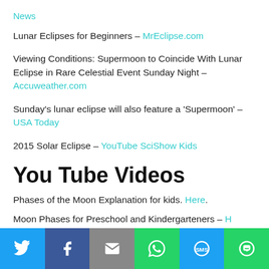News
Lunar Eclipses for Beginners – MrEclipse.com
Viewing Conditions: Supermoon to Coincide With Lunar Eclipse in Rare Celestial Event Sunday Night – Accuweather.com
Sunday's lunar eclipse will also feature a 'Supermoon' – USA Today
2015 Solar Eclipse – YouTube SciShow Kids
You Tube Videos
Phases of the Moon Explanation for kids. Here.
Moon Phases for Preschool and Kindergarteners – Here